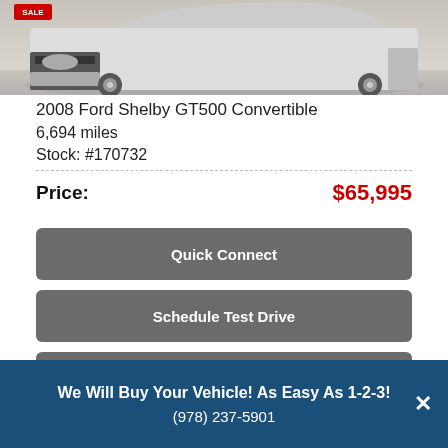[Figure (photo): Partial front view of a white 2008 Ford Shelby GT500 Convertible with a red SALE badge in the top-left corner]
2008 Ford Shelby GT500 Convertible
6,694 miles
Stock: #170732
Price: $65,995
Quick Connect
Schedule Test Drive
INCLUDED OPTIONS
[Figure (logo): AlphaCars dealer logo and tagline 'Expect to Be Impressed']
We Will Buy Your Vehicle! As Easy As 1-2-3!
(978) 237-5901